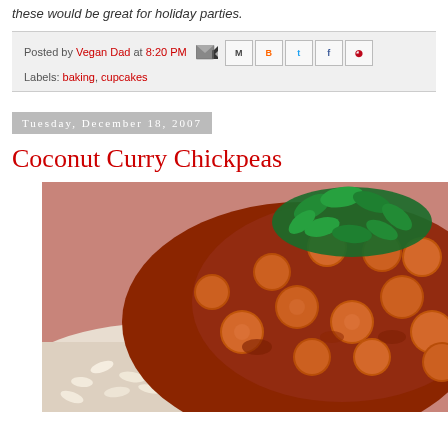these would be great for holiday parties.
Posted by Vegan Dad at 8:20 PM
Labels: baking, cupcakes
Tuesday, December 18, 2007
Coconut Curry Chickpeas
[Figure (photo): Close-up photo of coconut curry chickpeas served over white rice, garnished with fresh cilantro. The chickpeas are coated in a rich reddish-brown curry sauce.]